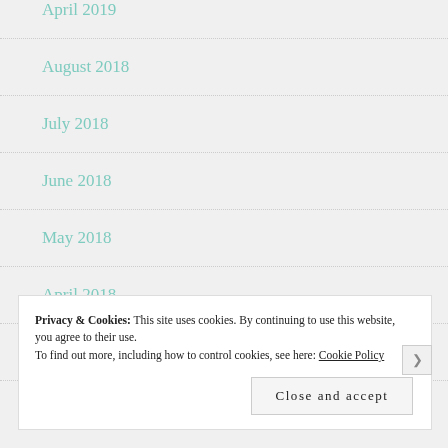April 2019
August 2018
July 2018
June 2018
May 2018
April 2018
February 2018
Privacy & Cookies: This site uses cookies. By continuing to use this website, you agree to their use.
To find out more, including how to control cookies, see here: Cookie Policy
Close and accept